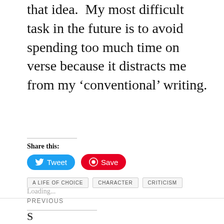that idea.  My most difficult task in the future is to avoid spending too much time on verse because it distracts me from my ‘conventional’ writing.
Share this:
Tweet
Save
Loading...
A LIFE OF CHOICE
CHARACTER
CRITICISM
PREVIOUS
S